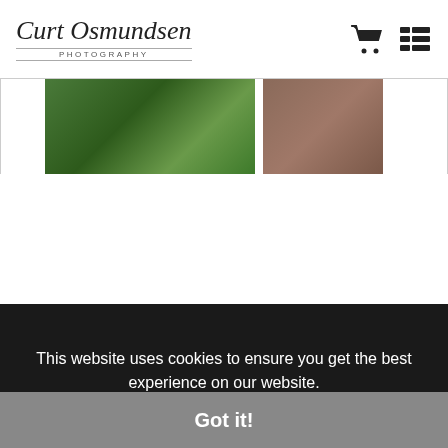Curt Osmundsen Photography
[Figure (photo): Two photographs partially visible: left one shows green foliage/nature scene, right one shows a warm-toned portrait or landscape]
[Figure (logo): Officially Registered Trusted Art Seller badge/seal - circular badge with orange ribbon banner reading TRUSTED ART SELLER, house/gallery icon in center, gear-like border]
This website uses cookies to ensure you get the best experience on our website.
Got it!